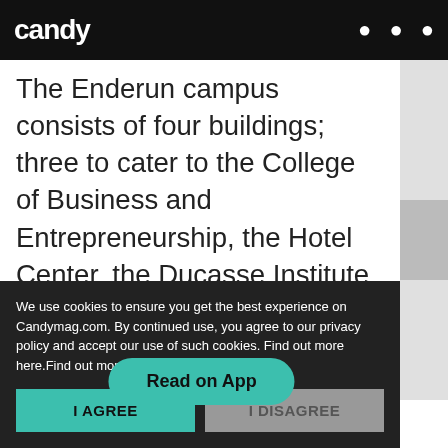candy
The Enderun campus consists of four buildings; three to cater to the College of Business and Entrepreneurship, the Hotel Center, the Ducasse Institute Philippines, and one to cater to parties and events. The campus also includes a student-run restaurant called Restaurant 101.
Read on App
We use cookies to ensure you get the best experience on Candymag.com. By continued use, you agree to our privacy policy and accept our use of such cookies. Find out more here.Find out more here.
I AGREE
I DISAGREE